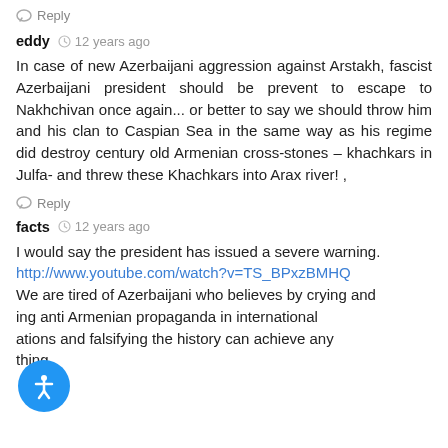Reply
eddy  12 years ago
In case of new Azerbaijani aggression against Arstakh, fascist Azerbaijani president should be prevent to escape to Nakhchivan once again... or better to say we should throw him and his clan to Caspian Sea in the same way as his regime did destroy century old Armenian cross-stones – khachkars in Julfa- and threw these Khachkars into Arax river! ,
Reply
facts  12 years ago
I would say the president has issued a severe warning. http://www.youtube.com/watch?v=TS_BPxzBMHQ We are tired of Azerbaijani who believes by crying and ing anti Armenian propaganda in international ations and falsifying the history can achieve any thing.